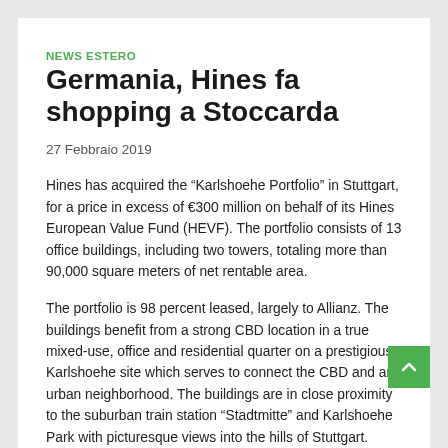NEWS ESTERO
Germania, Hines fa shopping a Stoccarda
27 Febbraio 2019
Hines has acquired the “Karlshoehe Portfolio” in Stuttgart, for a price in excess of €300 million on behalf of its Hines European Value Fund (HEVF). The portfolio consists of 13 office buildings, including two towers, totaling more than 90,000 square meters of net rentable area.
The portfolio is 98 percent leased, largely to Allianz. The buildings benefit from a strong CBD location in a true mixed-use, office and residential quarter on a prestigious Karlshoehe site which serves to connect the CBD and an urban neighborhood. The buildings are in close proximity to the suburban train station “Stadtmitte” and Karlshoehe Park with picturesque views into the hills of Stuttgart.